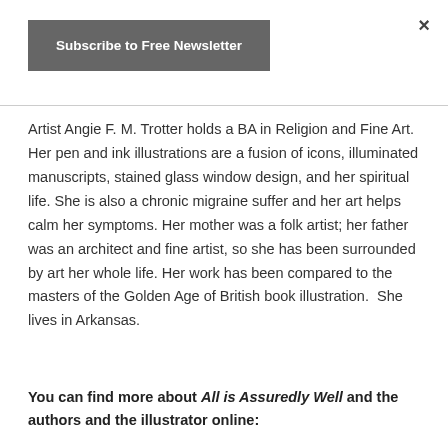×
Subscribe to Free Newsletter
Artist Angie F. M. Trotter holds a BA in Religion and Fine Art. Her pen and ink illustrations are a fusion of icons, illuminated manuscripts, stained glass window design, and her spiritual life. She is also a chronic migraine suffer and her art helps calm her symptoms. Her mother was a folk artist; her father was an architect and fine artist, so she has been surrounded by art her whole life. Her work has been compared to the masters of the Golden Age of British book illustration.  She lives in Arkansas.
You can find more about All is Assuredly Well and the authors and the illustrator online: